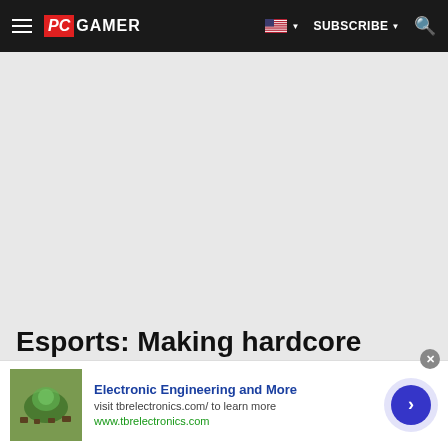PC GAMER | SUBSCRIBE
[Figure (other): Large gray advertisement placeholder area]
Esports: Making hardcore games accessible
[Figure (other): Bottom advertisement banner: Electronic Engineering and More — visit tbrelectronics.com/ to learn more — www.tbrelectronics.com — with a game thumbnail image and a blue arrow button]